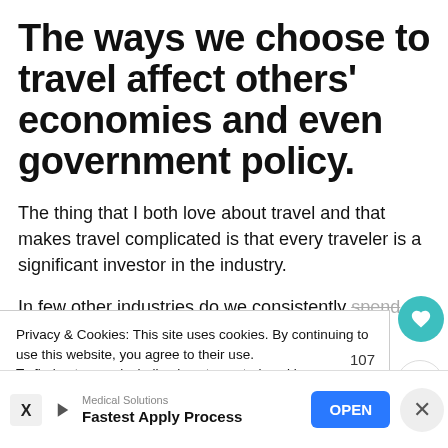The ways we choose to travel affect others' economies and even government policy.
The thing that I both love about travel and that makes travel complicated is that every traveler is a significant investor in the industry.
In few other industries do we consistently spend thousands of dollars in one week on…
Privacy & Cookies: This site uses cookies. By continuing to use this website, you agree to their use. To find out more, including how to control cookies, see here: Cookie Policy
[Figure (screenshot): Cookie consent banner with heart (107 likes) and share buttons on the right side]
Medical Solutions
Fastest Apply Process
OPEN